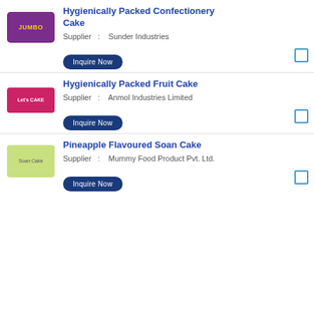[Figure (photo): Purple packaged Jumbo confectionery cake product image]
Hygienically Packed Confectionery Cake
Supplier   :   Sunder Industries
Inquire Now
[Figure (photo): Pink packaged fruit cake product image]
Hygienically Packed Fruit Cake
Supplier   :   Anmol Industries Limited
Inquire Now
[Figure (photo): Green packaged Pineapple Flavoured Soan Cake product image]
Pineapple Flavoured Soan Cake
Supplier   :   Mummy Food Product Pvt. Ltd.
Inquire Now